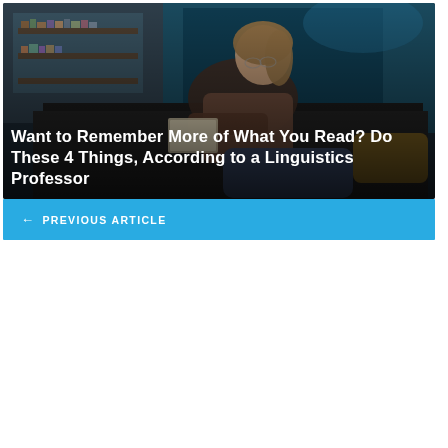[Figure (photo): A young woman sitting on a dark couch/sofa in a dimly lit room, reading a book. Bookshelves visible in background, teal/dark atmosphere.]
Want to Remember More of What You Read? Do These 4 Things, According to a Linguistics Professor
← PREVIOUS ARTICLE